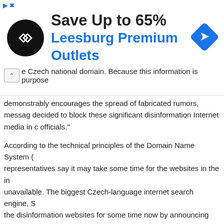[Figure (advertisement): Advertisement banner for Leesburg Premium Outlets showing a black circular logo with a white diamond/arrow symbol, text 'Save Up to 65%' in bold dark, 'Leesburg Premium Outlets' in blue, and a blue diamond navigation icon on the right.]
e Czech national domain. Because this information is purposely demonstrably encourages the spread of fabricated rumors, messag decided to block these significant disinformation Internet media in c officials."
According to the technical principles of the Domain Name System ( representatives say it may take some time for the websites in the in unavailable. The biggest Czech-language internet search engine, S the disinformation websites for some time now by announcing that t or dubious content when people access them.
Most of the websites that were blocked yesterday had previously pu Romani people, then switched their focus to refugees in 2015, and t example, the Aeronet.cz server republished an article from the Ruk and downplaying the atrocities that took place in the former WWII-e at Lety u Písku.
The author of the article was eventually sentenced in 2020 to six mo